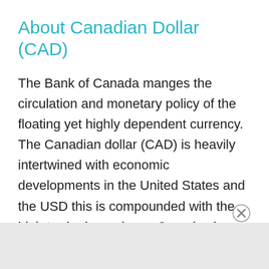About Canadian Dollar (CAD)
The Bank of Canada manges the circulation and monetary policy of the floating yet highly dependent currency. The Canadian dollar (CAD) is heavily intertwined with economic developments in the United States and the USD this is compounded with the high trade dependence Canada shares with the US and is only mitigated by the price of commodities such as oil in which Canada is a net exporter and therefore can leverage these exports to support the CAD independent of the USD. The Bank of Canada follows its mandate of promoting the economic well being of the nation in juxtap[...] anks as pric[...]